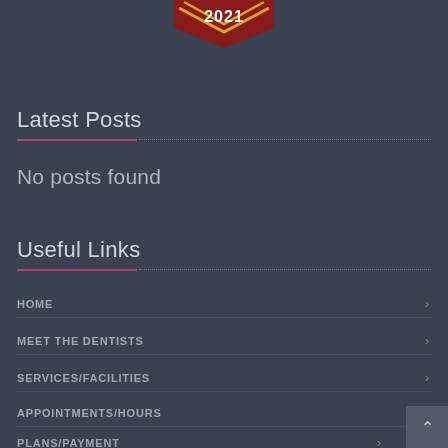[Figure (illustration): Partial view of a 2021 badge/award shield in dark red and gold colors, cropped at top of page]
Latest Posts
No posts found
Useful Links
HOME
MEET THE DENTISTS
SERVICES/FACILITIES
APPOINTMENTS/HOURS
PLANS/PAYMENT